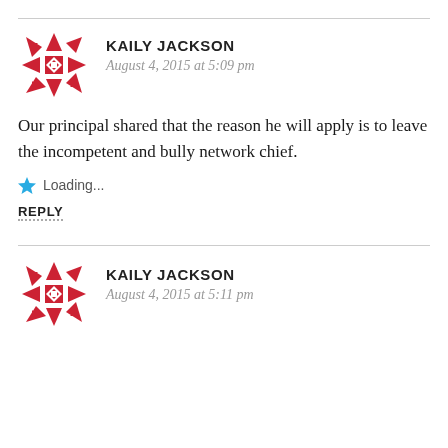[Figure (illustration): Red geometric snowflake/quilt-pattern avatar icon for Kaily Jackson (first comment)]
KAILY JACKSON
August 4, 2015 at 5:09 pm
Our principal shared that the reason he will apply is to leave the incompetent and bully network chief.
Loading...
REPLY
[Figure (illustration): Red geometric snowflake/quilt-pattern avatar icon for Kaily Jackson (second comment)]
KAILY JACKSON
August 4, 2015 at 5:11 pm